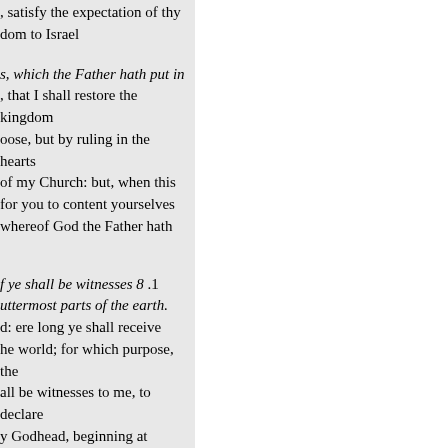, satisfy the expectation of thy dom to Israel
s, which the Father hath put in , that I shall restore the kingdom oose, but by ruling in the hearts of my Church: but, when this for you to content yourselves whereof God the Father hath
f ye shall be witnesses 8 .1 uttermost parts of the earth. d: ere long ye shall receive he world; for which purpose, the all be witnesses to me, to declare y Godhead, beginning at to Samaria itself and to all the
two men stood by them in right apparel
hich is taken up from you 11 .1 en. Ye men of Galilee, the late of bearen, where your Master